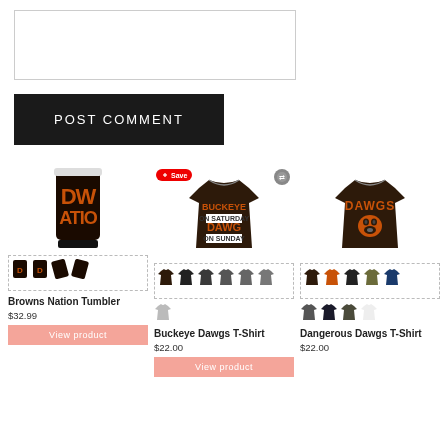[Figure (screenshot): Comment text input box (empty)]
POST COMMENT
[Figure (photo): Browns Nation Tumbler - black tumbler with orange text reading 'DAWG NATION']
Browns Nation Tumbler
$32.99
View product
[Figure (photo): Buckeye Dawgs T-Shirt - dark brown shirt with orange and white text reading BUCKEYE ON SATURDAY DAWG ON SUNDAY]
Buckeye Dawgs T-Shirt
$22.00
View product
[Figure (photo): Dangerous Dawgs T-Shirt - dark brown shirt with orange Dawgs bulldog logo]
Dangerous Dawgs T-Shirt
$22.00